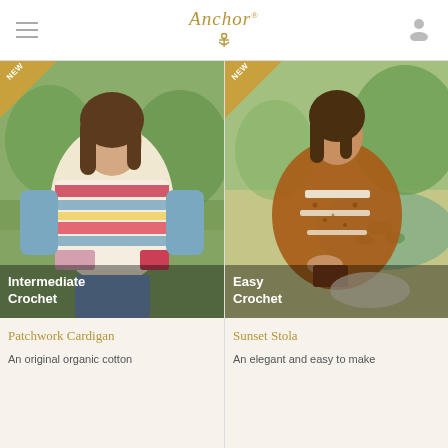Anchor
[Figure (photo): Woman wearing a colorful patchwork crochet cardigan outdoors in a garden setting. The cardigan has multicolor stripes and granny square patches in shades of red, blue, yellow, and cream.]
Intermediate Crochet
Patchwork Cardigan
An original organic cotton
[Figure (photo): Woman wearing an elegant brownish-orange crochet stola (shawl) with cream stripe accents, sitting outdoors near a pond with lily pads.]
Easy Crochet
Sunset Stola
An elegant and easy to make